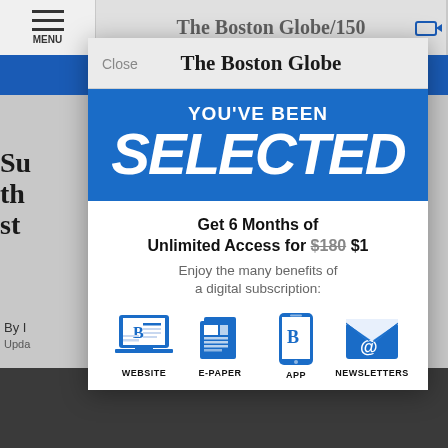[Figure (screenshot): Screenshot of The Boston Globe website with a subscription modal overlay. Background shows partial article text and blue navigation bar. Modal contains Boston Globe logo, 'YOU'VE BEEN SELECTED' in blue banner, offer text for 6 months unlimited access for $1 (regularly $180), and four benefit icons: Website, E-Paper, App, Newsletters.]
The Boston Globe
YOU'VE BEEN
SELECTED
Get 6 Months of Unlimited Access for $180 $1
Enjoy the many benefits of a digital subscription:
WEBSITE
E-PAPER
APP
NEWSLETTERS